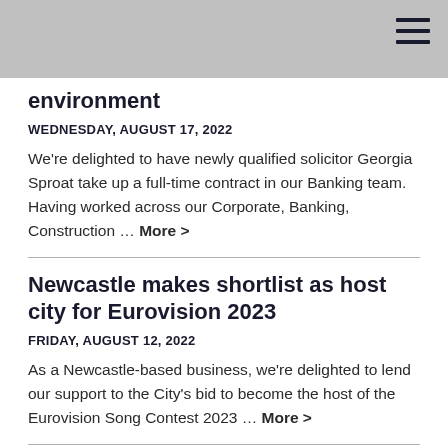environment
WEDNESDAY, AUGUST 17, 2022
We're delighted to have newly qualified solicitor Georgia Sproat take up a full-time contract in our Banking team. Having worked across our Corporate, Banking, Construction … More >
Newcastle makes shortlist as host city for Eurovision 2023
FRIDAY, AUGUST 12, 2022
As a Newcastle-based business, we're delighted to lend our support to the City's bid to become the host of the Eurovision Song Contest 2023 … More >
Muckle celebrates as newly qualified